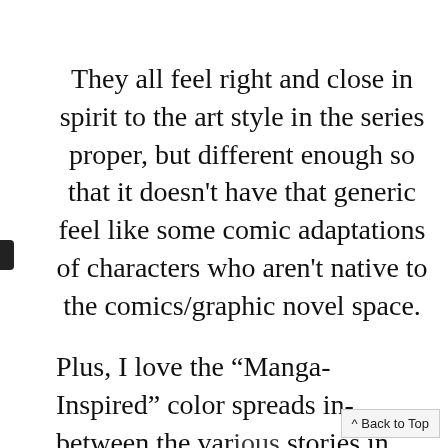They all feel right and close in spirit to the art style in the series proper, but different enough so that it doesn't have that generic feel like some comic adaptations of characters who aren't native to the comics/graphic novel space.
Plus, I love the “Manga-Inspired” color spreads in-between the various stories in each volume. For those